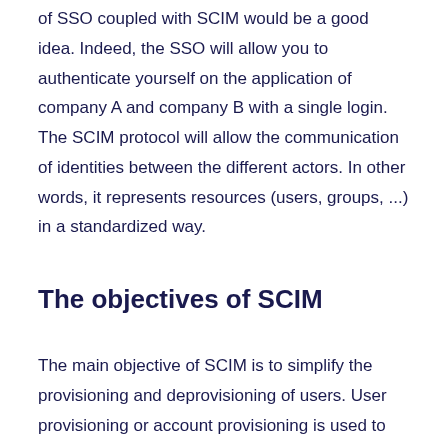of SSO coupled with SCIM would be a good idea. Indeed, the SSO will allow you to authenticate yourself on the application of company A and company B with a single login. The SCIM protocol will allow the communication of identities between the different actors. In other words, it represents resources (users, groups, ...) in a standardized way.
The objectives of SCIM
The main objective of SCIM is to simplify the provisioning and deprovisioning of users. User provisioning or account provisioning is used to create, modify, deactivate and delete user accounts and their profiles in an IT infrastructure or any other application linked to this infrastructure.